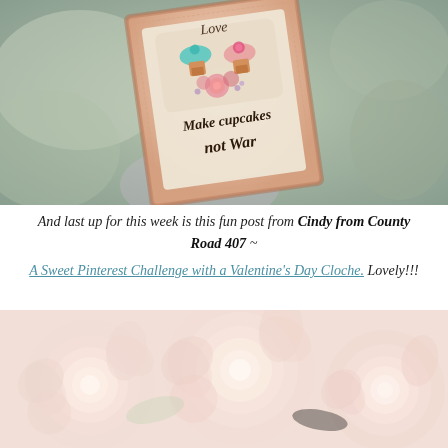[Figure (photo): A decorative sign with illustrated cupcakes reading 'Love' at top and 'Make Cupcakes not War' in script text, with pink roses and teal/pink cupcakes on a vintage-style card, displayed against a blurred grey-green background.]
And last up for this week is this fun post from Cindy from County Road 407 ~
A Sweet Pinterest Challenge with a Valentine's Day Cloche. Lovely!!!
[Figure (photo): Close-up of soft pink ranunculus flowers with layered petals, very light pink tones on white background.]